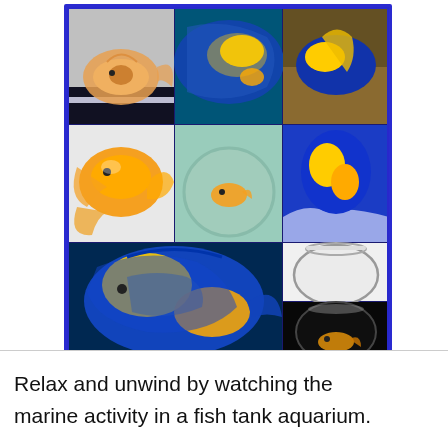[Figure (photo): A 3x3 collage of fish and aquarium photos in a blue-bordered frame. Top row: goldfish in a bowl, blue angelfish close-up, blue/yellow tropical fish. Middle row: orange fantail goldfish, goldfish in a round bowl, blue and yellow angelfish near coral. Bottom row: large blue and yellow angelfish filling most of the bottom, empty round glass fish bowl, small goldfish in a dark round bowl.]
Relax and unwind by watching the marine activity in a fish tank aquarium.